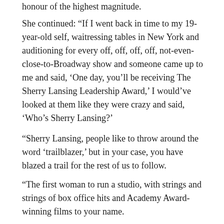honour of the highest magnitude.
She continued: “If I went back in time to my 19-year-old self, waitressing tables in New York and auditioning for every off, off, off, off, not-even-close-to-Broadway show and someone came up to me and said, ‘One day, you’ll be receiving The Sherry Lansing Leadership Award,’ I would’ve looked at them like they were crazy and said, ‘Who’s Sherry Lansing?’
“Sherry Lansing, people like to throw around the word ‘trailblazer,’ but in your case, you have blazed a trail for the rest of us to follow.
“The first woman to run a studio, with strings and strings of box office hits and Academy Award-winning films to your name.
“You have blazed the way for so many women and...